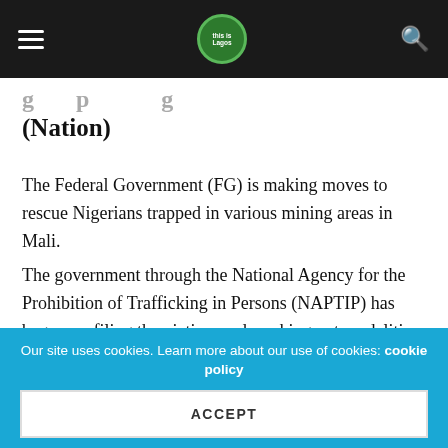Navigation bar with hamburger menu, site logo, and search icon
(Nation)
The Federal Government (FG) is making moves to rescue Nigerians trapped in various mining areas in Mali.
The government through the National Agency for the Prohibition of Trafficking in Persons (NAPTIP) has began profiling the victims and working out modalities for evacuating them back to Nigeria.
This is being done through advocacy and working tours of Mali with a view to addressing the exploitative conditions that these Nigerians who are victims of human trafficking are in
Our site uses cookies. Learn more about our use of cookies: cookie policy
ACCEPT